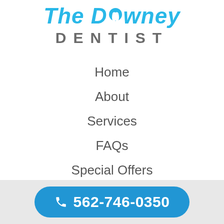[Figure (logo): The Downey Dentist logo — 'The Downey' in italic bold cyan/blue with a tooth icon replacing the 'o', and 'DENTIST' in spaced gray capital letters below]
Home
About
Services
FAQs
Special Offers
Contact Us
Spanish
562-746-0350